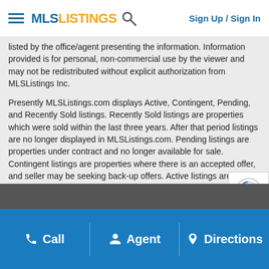Sign Up / Sign In
listed by the office/agent presenting the information. Information provided is for personal, non-commercial use by the viewer and may not be redistributed without explicit authorization from MLSListings Inc.
Presently MLSListings.com displays Active, Contingent, Pending, and Recently Sold listings. Recently Sold listings are properties which were sold within the last three years. After that period listings are no longer displayed in MLSListings.com. Pending listings are properties under contract and no longer available for sale. Contingent listings are properties where there is an accepted offer, and seller may be seeking back-up offers. Active listings are available for sale.
* The offer of compensation is made subject to the MLS rules where the listing is filed. Please contact your agent for any questions concerning this subject matter.
This listing information is up-to-date as of July 20, 2022. For the most current information, please contact Veronica Roberson, (855) 571-8014
Call  Agent  Directions